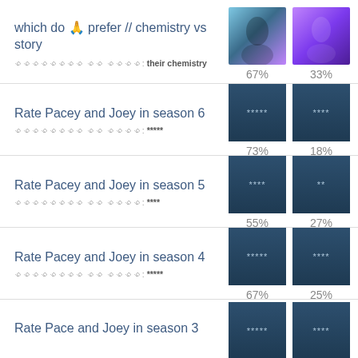which do 🙏 prefer // chemistry vs story
ꀰꀰꀰꀰꀰꀰꀰꀰ ꀰꀰ ꀰꀰꀰꀰ: their chemistry
67%
33%
Rate Pacey and Joey in season 6
ꀰꀰꀰꀰꀰꀰꀰꀰ ꀰꀰ ꀰꀰꀰꀰ: *****
73%
18%
Rate Pacey and Joey in season 5
ꀰꀰꀰꀰꀰꀰꀰꀰ ꀰꀰ ꀰꀰꀰꀰ: ****
55%
27%
Rate Pacey and Joey in season 4
ꀰꀰꀰꀰꀰꀰꀰꀰ ꀰꀰ ꀰꀰꀰꀰ: *****
67%
25%
Rate Pace and Joey in season 3